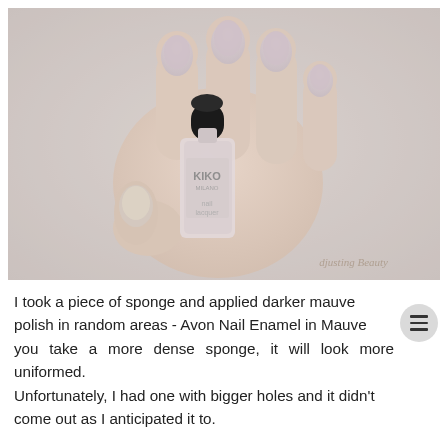[Figure (photo): A hand holding a KIKO nail lacquer bottle in a light mauve/nude pink color. The nails are painted with the same pale mauve-nude polish. The background is a soft white/grey fuzzy surface. A watermark reads 'djusting Beauty' in the bottom right corner.]
I took a piece of sponge and applied darker mauve nail polish in random areas - Avon Nail Enamel in Mauve. If you take a more dense sponge, it will look more uniformed. Unfortunately, I had one with bigger holes and it didn't come out as I anticipated it to.